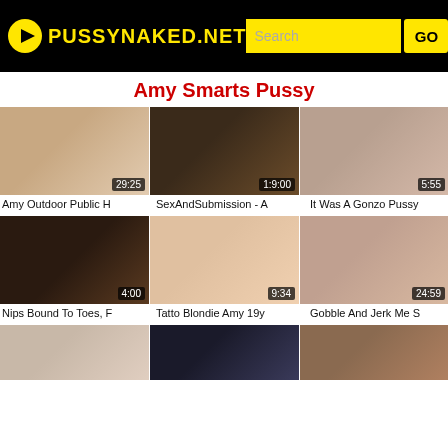PUSSYNAKED.NET
Amy Smarts Pussy
[Figure (screenshot): Video thumbnail 1 with duration 29:25]
Amy Outdoor Public H
[Figure (screenshot): Video thumbnail 2 with duration 1:9:00]
SexAndSubmission - A
[Figure (screenshot): Video thumbnail 3 with duration 5:55]
It Was A Gonzo Pussy
[Figure (screenshot): Video thumbnail 4 with duration 4:00]
Nips Bound To Toes, F
[Figure (screenshot): Video thumbnail 5 with duration 9:34]
Tatto Blondie Amy 19y
[Figure (screenshot): Video thumbnail 6 with duration 24:59]
Gobble And Jerk Me S
[Figure (screenshot): Video thumbnail 7 (partial, row 3)]
[Figure (screenshot): Video thumbnail 8 (partial, row 3)]
[Figure (screenshot): Video thumbnail 9 (partial, row 3)]